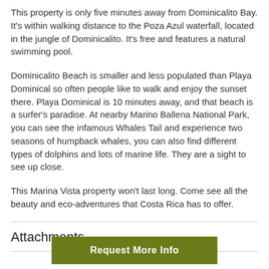This property is only five minutes away from Dominicalito Bay. It's within walking distance to the Poza Azul waterfall, located in the jungle of Dominicalito. It's free and features a natural swimming pool.
Dominicalito Beach is smaller and less populated than Playa Dominical so often people like to walk and enjoy the sunset there. Playa Dominical is 10 minutes away, and that beach is a surfer's paradise. At nearby Marino Ballena National Park, you can see the infamous Whales Tail and experience two seasons of humpback whales, you can also find different types of dolphins and lots of marine life. They are a sight to see up close.
This Marina Vista property won't last long. Come see all the beauty and eco-adventures that Costa Rica has to offer.
Attachments
Request More Info